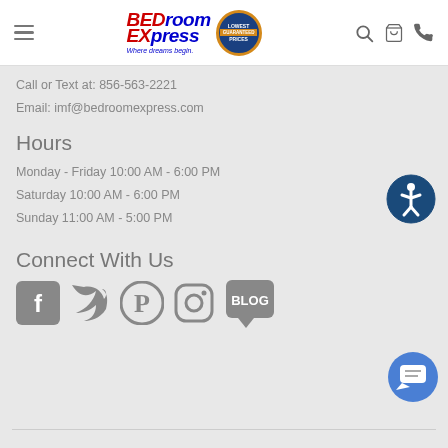[Figure (logo): BEDroom EXpress logo with 'Where dreams begin' tagline and 'Lowest Prices Guaranteed' badge]
Call or Text at: 856-563-2221
Email: imf@bedroomexpress.com
Hours
Monday - Friday 10:00 AM - 6:00 PM
Saturday 10:00 AM - 6:00 PM
Sunday 11:00 AM - 5:00 PM
Connect With Us
[Figure (illustration): Social media icons: Facebook, Twitter, Pinterest, Instagram, Blog]